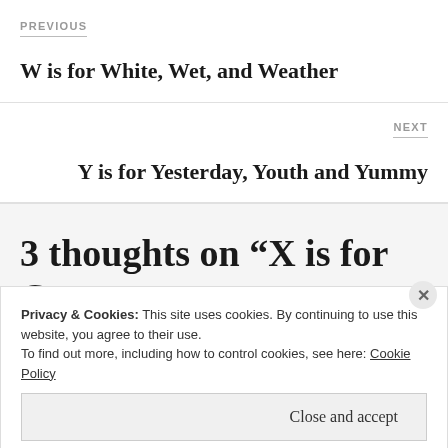PREVIOUS
W is for White, Wet, and Weather
NEXT
Y is for Yesterday, Youth and Yummy
3 thoughts on “X is for Cross
Privacy & Cookies: This site uses cookies. By continuing to use this website, you agree to their use.
To find out more, including how to control cookies, see here: Cookie Policy
Close and accept